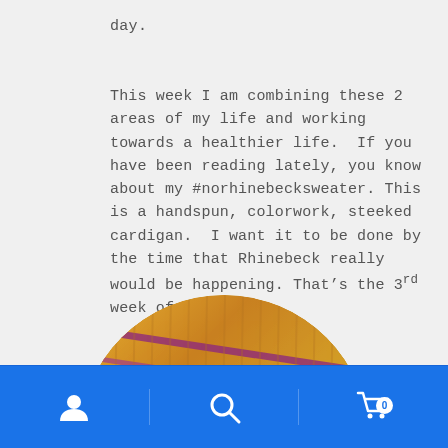day.
This week I am combining these 2 areas of my life and working towards a healthier life.  If you have been reading lately, you know about my #norhinebecksweater. This is a handspun, colorwork, steeked cardigan.  I want it to be done by the time that Rhinebeck really would be happening. That’s the 3rd week of October.
[Figure (photo): Circular cropped photograph of a handspun colorwork knitted sweater in gold/yellow and purple/magenta tones showing ribbed texture.]
Navigation bar with user icon, search icon, and shopping cart icon with badge showing 0